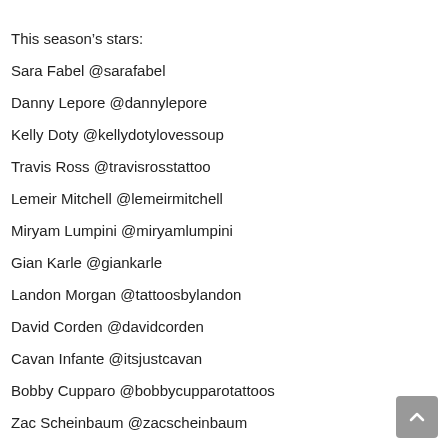This season's stars:
Sara Fabel @sarafabel
Danny Lepore @dannylepore
Kelly Doty @kellydotylovessoup
Travis Ross @travisrosstattoo
Lemeir Mitchell @lemeirmitchell
Miryam Lumpini @miryamlumpini
Gian Karle @giankarle
Landon Morgan @tattoosbylandon
David Corden @davidcorden
Cavan Infante @itsjustcavan
Bobby Cupparo @bobbycupparotattoos
Zac Scheinbaum @zacscheinbaum
Jimmy Snaz @jimmy_snaz